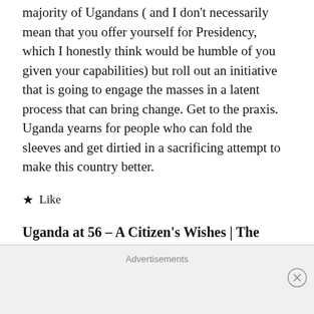majority of Ugandans ( and I don't necessarily mean that you offer yourself for Presidency, which I honestly think would be humble of you given your capabilities) but roll out an initiative that is going to engage the masses in a latent process that can bring change. Get to the praxis. Uganda yearns for people who can fold the sleeves and get dirtied in a sacrificing attempt to make this country better.
★ Like
Uganda at 56 – A Citizen's Wishes | The humanist view
Advertisements